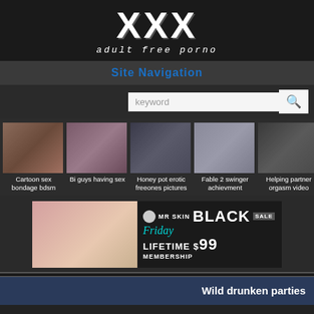XXX adult free porno
Site Navigation
[Figure (screenshot): Thumbnail gallery row showing 5 adult content thumbnails with captions: Cartoon sex bondage bdsm, Bi guys having sex, Honey pot erotic freeones pictures, Fable 2 swinger achievment, Helping partner orgasm video]
[Figure (other): MR SKIN Black Friday SALE advertisement banner - LIFETIME MEMBERSHIP $99]
Wild drunken parties